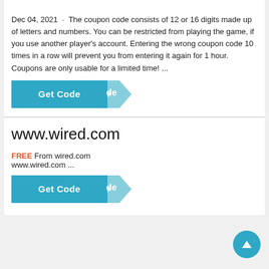Dec 04, 2021 · The coupon code consists of 12 or 16 digits made up of letters and numbers. You can be restricted from playing the game, if you use another player's account. Entering the wrong coupon code 10 times in a row will prevent you from entering it again for 1 hour. Coupons are only usable for a limited time! ...
[Figure (other): Teal 'Get Code' button with arrow accent]
www.wired.com
FREE From wired.com
www.wired.com ...
[Figure (other): Teal 'Get Code' button with arrow accent]